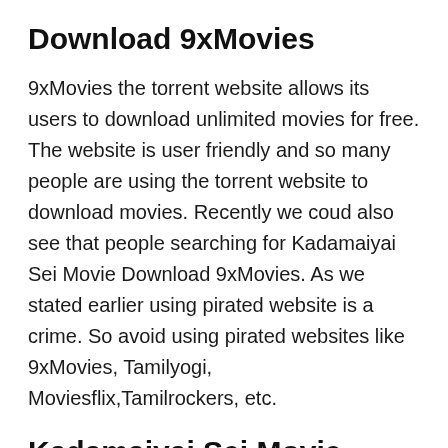Download 9xMovies
9xMovies the torrent website allows its users to download unlimited movies for free. The website is user friendly and so many people are using the torrent website to download movies. Recently we coud also see that people searching for Kadamaiyai Sei Movie Download 9xMovies. As we stated earlier using pirated website is a crime. So avoid using pirated websites like 9xMovies, Tamilyogi, Moviesflix,Tamilrockers, etc.
Kadamaiyai Sei Movie Download Kuttymovies